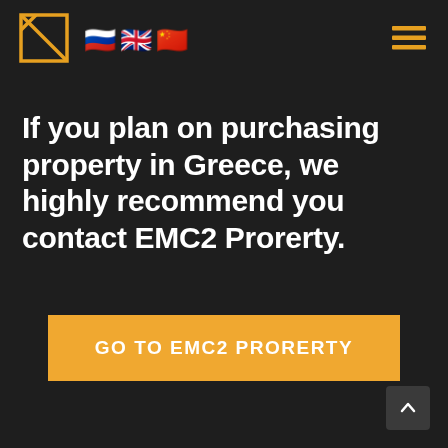[Figure (logo): EMC2 Property logo: square outline with diagonal line, orange/gold color]
[Figure (infographic): Three country flag emojis: Russia, United Kingdom, China]
[Figure (infographic): Hamburger menu icon (three horizontal lines) in orange/gold]
If you plan on purchasing property in Greece, we highly recommend you contact EMC2 Prorerty.
GO TO EMC2 PRORERTY
[Figure (infographic): Back to top button with upward chevron arrow]